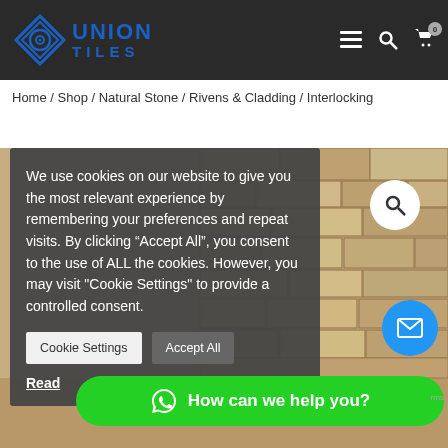[Figure (logo): Union Tiles logo with blue diamond/circle emblem and blue text UNION TILES on dark header]
Home / Shop / Natural Stone / Rivens & Cladding / Interlocking
We use cookies on our website to give you the most relevant experience by remembering your preferences and repeat visits. By clicking “Accept All”, you consent to the use of ALL the cookies. However, you may visit "Cookie Settings" to provide a controlled consent.
Cookie Settings
Accept All
Read
[Figure (photo): Natural stone interlocking cladding wall tiles in sandy/beige tones]
How can we help you?